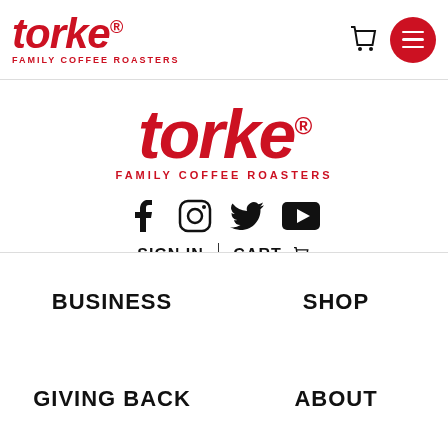torke FAMILY COFFEE ROASTERS
[Figure (logo): Torke Family Coffee Roasters logo centered, large red italic text 'torke' with registered mark and 'FAMILY COFFEE ROASTERS' tagline]
[Figure (infographic): Social media icons: Facebook, Instagram, Twitter, YouTube]
SIGN IN | CART
CONTACT
BUSINESS
SHOP
GIVING BACK
ABOUT